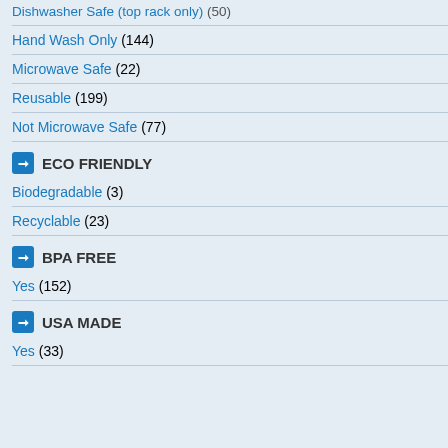Dishwasher Safe (top rack only) (50)
Hand Wash Only (144)
Microwave Safe (22)
Reusable (199)
Not Microwave Safe (77)
ECO FRIENDLY
Biodegradable (3)
Recyclable (23)
BPA FREE
Yes (152)
USA MADE
Yes (33)
As low as $7.68 each
As low a...
[Figure (photo): Sleeved Flask & Cup Set - dark thermos flask with metal cups]
Sleeved Flask & Cup Set
As low as $35.58 each
16 oz. Tumble...
As low a...
[Figure (photo): Under Armour branded tumbler with orange lid, silver body]